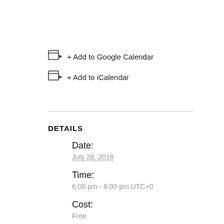+ Add to Google Calendar
+ Add to iCalendar
DETAILS
Date:
July 28, 2018
Time:
6:00 pm - 8:00 pm UTC+0
Cost:
Free